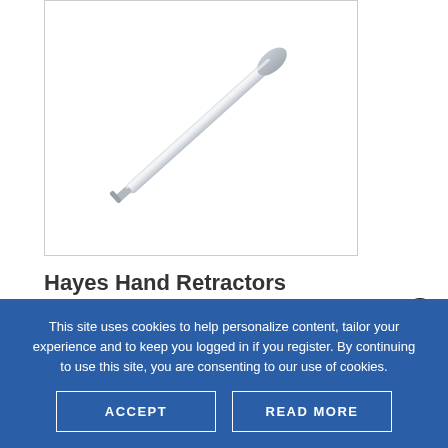[Figure (photo): A Hayes Hand Retractor surgical instrument — a long, slender stainless steel tool with a small hooked/flat tip at one end and a rounded handle at the other, shown diagonally on a white background inside a bordered box.]
Hayes Hand Retractors
SKU: HHR
This site uses cookies to help personalize content, tailor your experience and to keep you logged in if you register. By continuing to use this site, you are consenting to our use of cookies.
ACCEPT
READ MORE